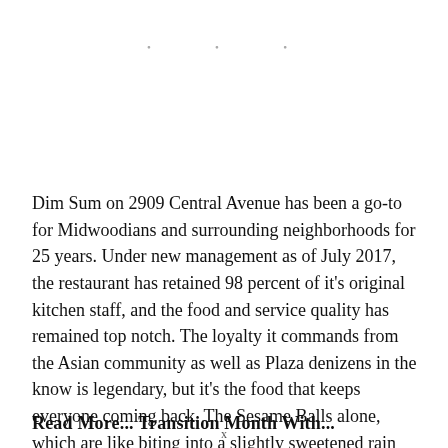[Figure (other): Three small grey dots arranged horizontally, likely a decorative separator or loading indicator]
Dim Sum on 2909 Central Avenue has been a go-to for Midwoodians and surrounding neighborhoods for 25 years. Under new management as of July 2017, the restaurant has retained 98 percent of it's original kitchen staff, and the food and service quality has remained top notch. The loyalty it commands from the Asian community as well as Plaza denizens in the know is legendary, but it's the food that keeps everyone coming back. The Sesame Balls alone, which are like biting into a slightly sweetened rain cloud, are well worth the trip. Dim Sum needs to become your new first date spot or Christmas Day tradition.
Read More... Transition Month With...
x